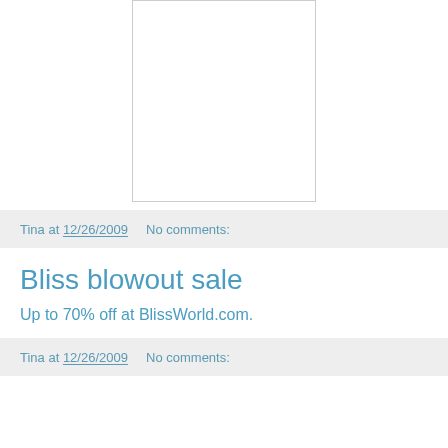[Figure (other): White rectangular image box with light gray border]
Tina at 12/26/2009    No comments:
Bliss blowout sale
Up to 70% off at BlissWorld.com.
Tina at 12/26/2009    No comments: